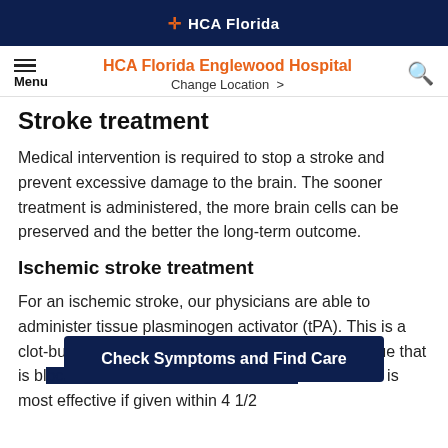✛ HCA Florida
HCA Florida Englewood Hospital
Change Location >
Stroke treatment
Medical intervention is required to stop a stroke and prevent excessive damage to the brain. The sooner treatment is administered, the more brain cells can be preserved and the better the long-term outcome.
Ischemic stroke treatment
For an ischemic stroke, our physicians are able to administer tissue plasminogen activator (tPA). This is a clot-busting dr[ug]... plaque that is bl[ocking the artery supplying blood to] the brain. It is most effective if given within 4 1/2
Check Symptoms and Find Care